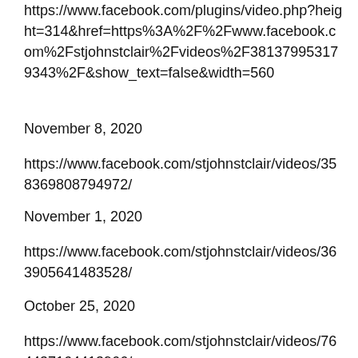https://www.facebook.com/plugins/video.php?height=314&href=https%3A%2F%2Fwww.facebook.com%2Fstjohnstclair%2Fvideos%2F381379953179343%2F&show_text=false&width=560
November 8, 2020
https://www.facebook.com/stjohnstclair/videos/3583698​08794972/
November 1, 2020
https://www.facebook.com/stjohnstclair/videos/363905641483528/
October 25, 2020
https://www.facebook.com/stjohnstclair/videos/764437164413966/